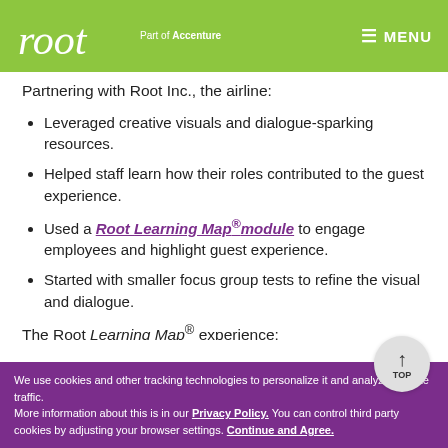root | Part of Accenture | MENU
Partnering with Root Inc., the airline:
Leveraged creative visuals and dialogue-sparking resources.
Helped staff learn how their roles contributed to the guest experience.
Used a Root Learning Map®module to engage employees and highlight guest experience.
Started with smaller focus group tests to refine the visual and dialogue.
The Root Learning Map® experience:
Brought to life the opportunities and the barriers
We use cookies and other tracking technologies to personalize it and analyze our site traffic. More information about this is in our Privacy Policy. You can control third party cookies by adjusting your browser settings. Continue and Agree.